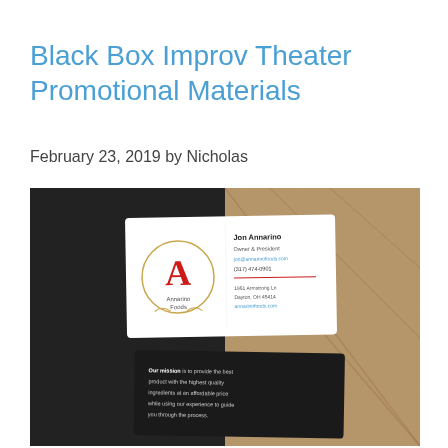Black Box Improv Theater Promotional Materials
February 23, 2019 by Nicholas
[Figure (photo): Two business cards displayed on a half-dark, half-wood-grain surface. The top card (white) shows a logo with a large red letter A inside a circle with the text 'Annarino Foods' and contact info for 'Jon Annarino, Owner & President'. The bottom card (dark/black) shows text: 'Our mission is to provide the best product with the highest quality ingredients at an affordable price while using our experience to guide you through the process.']